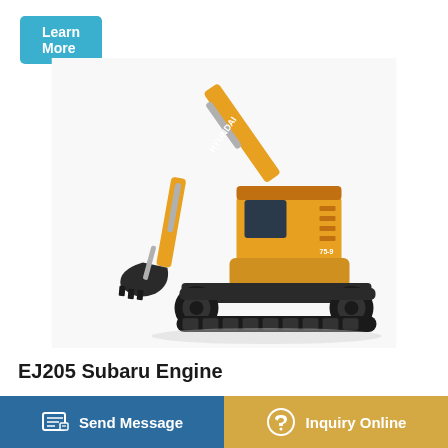[Figure (other): A 'Learn More' button in teal/cyan color at the top left corner of the page]
[Figure (photo): A yellow Hyundai tracked excavator (mini excavator) with black undercarriage and bucket, shown on white background]
EJ205 Subaru Engine
For the GD.II/GG.II Impreza WRX, the EJ205 engine had Subaru's 'Active Valve Control System (AVCS) which
[Figure (other): Bottom navigation bar with two buttons: 'Send Message' on blue/dark teal background with document edit icon on the left, and 'Inquiry Online' on golden/amber background with headset icon on the right]